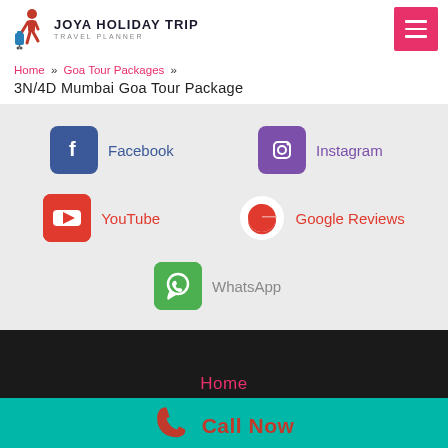[Figure (logo): Joya Holiday Trip travel planner logo with person icon and text]
Home » Goa Tour Packages » 3N/4D Mumbai Goa Tour Package
[Figure (infographic): Social media sharing buttons: Facebook, Instagram, YouTube, Google Reviews, WhatsApp]
Home
Call Now